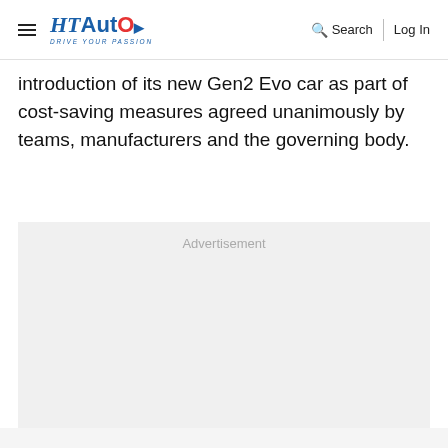HT Auto — Drive Your Passion | Search | Log In
introduction of its new Gen2 Evo car as part of cost-saving measures agreed unanimously by teams, manufacturers and the governing body.
[Figure (other): Advertisement placeholder box with light grey background and 'Advertisement' label in grey text]